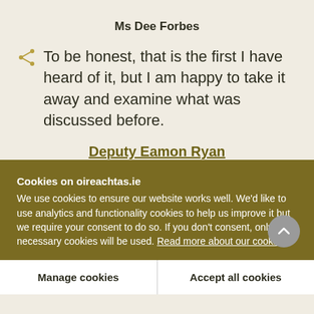Ms Dee Forbes
To be honest, that is the first I have heard of it, but I am happy to take it away and examine what was discussed before.
Deputy Eamon Ryan
Cookies on oireachtas.ie
We use cookies to ensure our website works well. We'd like to use analytics and functionality cookies to help us improve it but we require your consent to do so. If you don't consent, only necessary cookies will be used. Read more about our cookies
Manage cookies
Accept all cookies